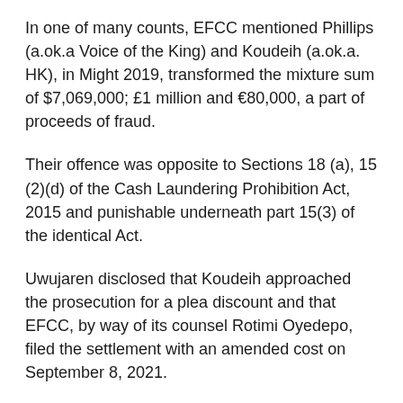In one of many counts, EFCC mentioned Phillips (a.ok.a Voice of the King) and Koudeih (a.ok.a. HK), in Might 2019, transformed the mixture sum of $7,069,000; £1 million and €80,000, a part of proceeds of fraud.
Their offence was opposite to Sections 18 (a), 15 (2)(d) of the Cash Laundering Prohibition Act, 2015 and punishable underneath part 15(3) of the identical Act.
Uwujaren disclosed that Koudeih approached the prosecution for a plea discount and that EFCC, by way of its counsel Rotimi Oyedepo, filed the settlement with an amended cost on September 8, 2021.
Delivering judgment, Justice Ringim despatched Koudeih to jail however gave him an choice N1 milllion tremendous.